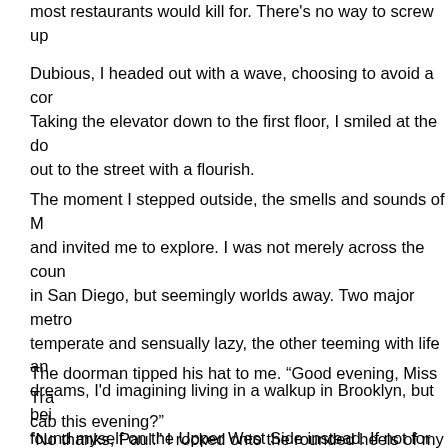most restaurants would kill for. There's no way to screw up
Dubious, I headed out with a wave, choosing to avoid a con Taking the elevator down to the first floor, I smiled at the do out to the street with a flourish.
The moment I stepped outside, the smells and sounds of M and invited me to explore. I was not merely across the cour in San Diego, but seemingly worlds away. Two major metro temperate and sensually lazy, the other teeming with life an dreams, I'd imagining living in a walkup in Brooklyn, but bei found myself on the Upper West Side instead. If not for Car would've been miserably lonely in the sprawling apartment than most people made in a year.
The doorman tipped his hat to me. “Good evening, Miss Tra cab this evening?”
“No thanks, Paul.” I rocked onto the rounded heels of my fi